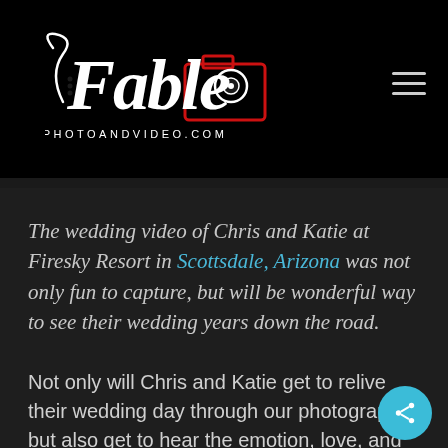[Figure (logo): Fable Photo and Video logo — stylized cursive 'Fable' text in white with a red camera icon outline, and 'PHOTOANDVIDEO.COM' text below in white caps]
The wedding video of Chris and Katie at Firesky Resort in Scottsdale, Arizona was not only fun to capture, but will be wonderful way to see their wedding years down the road.
Not only will Chris and Katie get to relive their wedding day through our photography, but also get to hear the emotion, love, and memorable